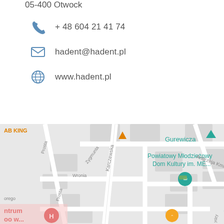05-400 Otwock
+ 48 604 21 41 74
hadent@hadent.pl
www.hadent.pl
[Figure (map): Google Maps screenshot showing area around Powiatowy Młodzieżowy Dom Kultury im. ME... in Otwock, Poland. Visible streets: Karczewska, Zygmunta, Prosta, Wronia. Landmarks: Gurewicza, Andrzeja Kmicica, Stacja Paliw ORLEN, Park Miejski, Sosenka, ntrum oo w... (hospital/centrum), AB KING. Map pins in teal, orange, yellow, red, blue.]